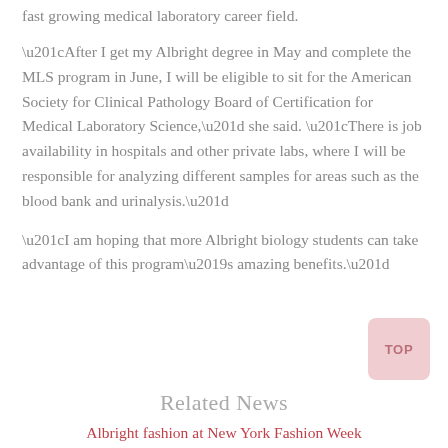fast growing medical laboratory career field.
“After I get my Albright degree in May and complete the MLS program in June, I will be eligible to sit for the American Society for Clinical Pathology Board of Certification for Medical Laboratory Science,” she said. “There is job availability in hospitals and other private labs, where I will be responsible for analyzing different samples for areas such as the blood bank and urinalysis.”
“I am hoping that more Albright biology students can take advantage of this program’s amazing benefits.”
Related News
Albright fashion at New York Fashion Week